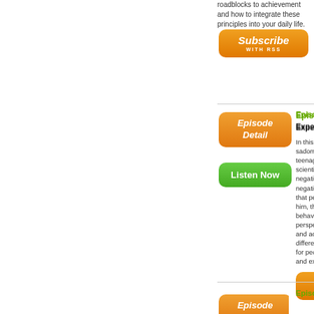roadblocks to achieve... into your daily life.
[Figure (other): Orange Subscribe WITH RSS button]
[Figure (other): Orange Episode Detail button]
[Figure (other): Green Listen Now button]
Episode 4: Ch... Expert on Unu...
In this program, Dr... sadomasochism (S... teenager who went... scientific perspect... negative society ha... negative repercuss... that people bring to... him, there is nothing... behaviors and the... perspective. He ap... and acknowledges... different for each p... for people to learn... and experimenting...
[Figure (other): Orange Subscribe WITH RSS button]
Episode 3: Dr...
[Figure (other): Orange Episode button (partial)]